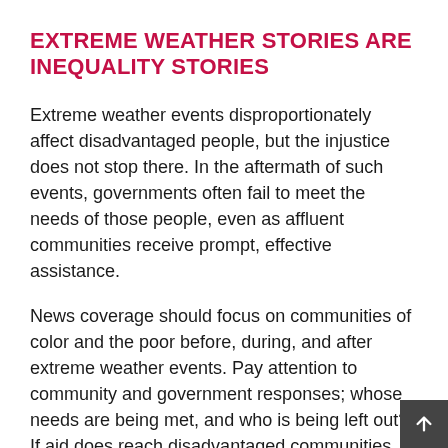EXTREME WEATHER STORIES ARE INEQUALITY STORIES
Extreme weather events disproportionately affect disadvantaged people, but the injustice does not stop there. In the aftermath of such events, governments often fail to meet the needs of those people, even as affluent communities receive prompt, effective assistance.
News coverage should focus on communities of color and the poor before, during, and after extreme weather events. Pay attention to community and government responses; whose needs are being met, and who is being left out? If aid does reach disadvantaged communities, does it last long enough to rebuild—or only until the disaster stops making headlines?